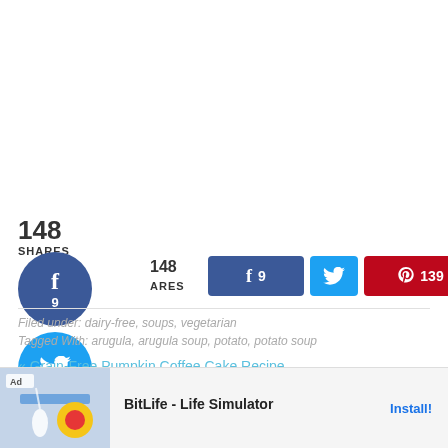148 SHARES
[Figure (infographic): Social share buttons: Facebook circle (9), Twitter circle, Pinterest circle (139), Yummly circle. Horizontal bar buttons: Facebook 9, Twitter, Pinterest 139, Yummly.]
Filed under: dairy-free, soups, vegetarian
Tagged With: arugula, arugula soup, potato, potato soup
« Grain-Free Pumpkin Coffee Cake Recipe
Bombay Chile And Cilantro Chicken »
[Figure (infographic): Ad banner: BitLife - Life Simulator with Install button]